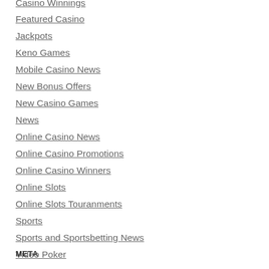Casino Winnings
Featured Casino
Jackpots
Keno Games
Mobile Casino News
New Bonus Offers
New Casino Games
News
Online Casino News
Online Casino Promotions
Online Casino Winners
Online Slots
Online Slots Touranments
Sports
Sports and Sportsbetting News
Video Poker
META